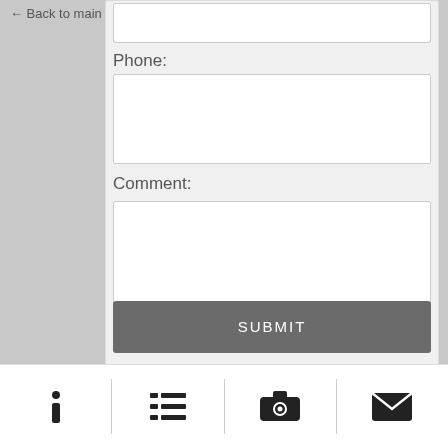← Back to main site
Phone:
Comment:
SUBMIT
[Figure (screenshot): Bottom navigation bar with four icons: info (i), list, camera, and envelope/mail, separated by vertical dividers]